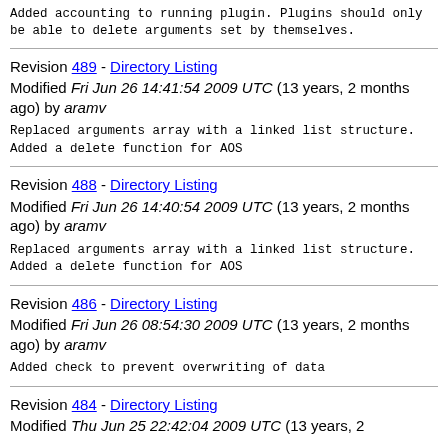Added accounting to running plugin. Plugins should only be able to delete arguments set by themselves.
Revision 489 - Directory Listing
Modified Fri Jun 26 14:41:54 2009 UTC (13 years, 2 months ago) by aramv
Replaced arguments array with a linked list structure.
Added a delete function for AOS
Revision 488 - Directory Listing
Modified Fri Jun 26 14:40:54 2009 UTC (13 years, 2 months ago) by aramv
Replaced arguments array with a linked list structure.
Added a delete function for AOS
Revision 486 - Directory Listing
Modified Fri Jun 26 08:54:30 2009 UTC (13 years, 2 months ago) by aramv
Added check to prevent overwriting of data
Revision 484 - Directory Listing
Modified Thu Jun 25 22:42:04 2009 UTC (13 years, 2